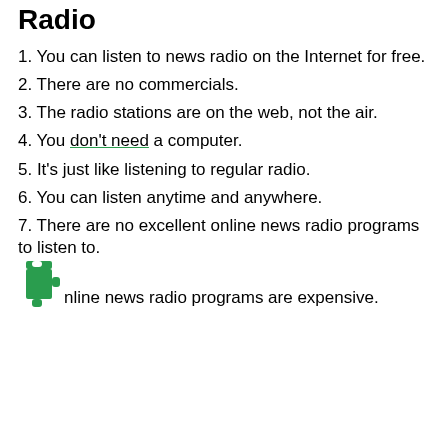Radio
1. You can listen to news radio on the Internet for free.
2. There are no commercials.
3. The radio stations are on the web, not the air.
4. You don't need a computer.
5. It's just like listening to regular radio.
6. You can listen anytime and anywhere.
7. There are no excellent online news radio programs to listen to.
[Figure (illustration): Small green puzzle piece icon]
8. Online news radio programs are expensive.